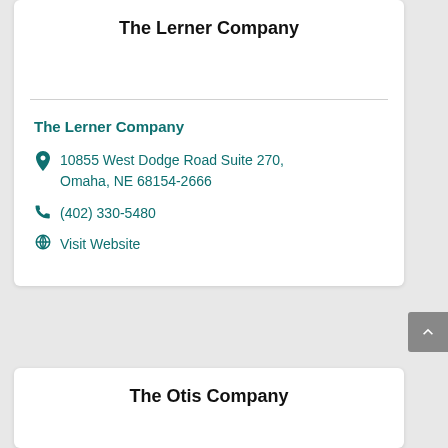The Lerner Company
The Lerner Company
10855 West Dodge Road Suite 270, Omaha, NE 68154-2666
(402) 330-5480
Visit Website
The Otis Company